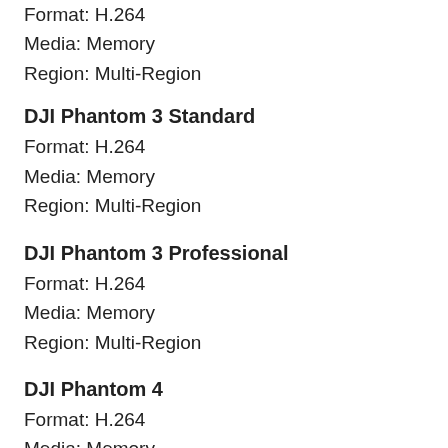Format: H.264
Media: Memory
Region: Multi-Region
DJI Phantom 3 Standard
Format: H.264
Media: Memory
Region: Multi-Region
DJI Phantom 3 Professional
Format: H.264
Media: Memory
Region: Multi-Region
DJI Phantom 4
Format: H.264
Media: Memory
Region: Multi-Region
DJI Phantom 4 Pro